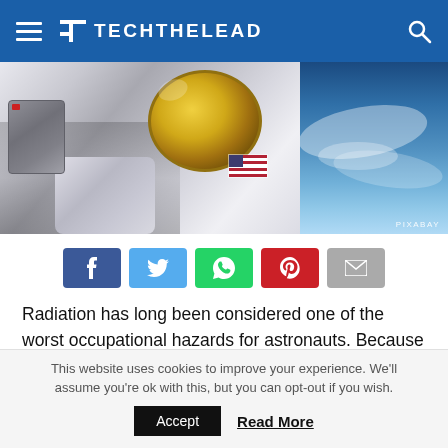TL TECHTHELEAD
[Figure (photo): Astronaut in a white spacesuit with gold reflective visor performing a spacewalk, with Earth visible in the background. Credit: PIXABAY]
[Figure (infographic): Social share buttons: Facebook (blue), Twitter (light blue), WhatsApp (green), Pinterest (red), Email (gray)]
Radiation has long been considered one of the worst occupational hazards for astronauts. Because of it, they are at risk of getting cancer and heart disease after prolonged exposure. It has been long believed that exposure to radiation would eventually send astronauts to their grave
This website uses cookies to improve your experience. We'll assume you're ok with this, but you can opt-out if you wish. Accept Read More